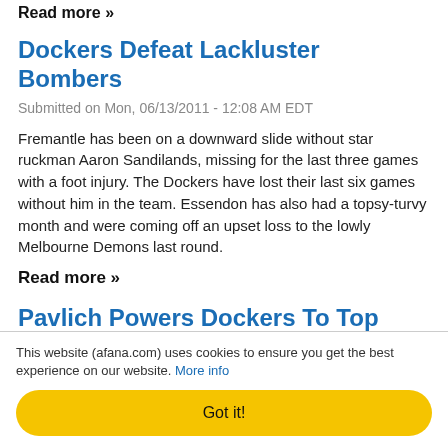Read more »
Dockers Defeat Lackluster Bombers
Submitted on Mon, 06/13/2011 - 12:08 AM EDT
Fremantle has been on a downward slide without star ruckman Aaron Sandilands, missing for the last three games with a foot injury. The Dockers have lost their last six games without him in the team. Essendon has also had a topsy-turvy month and were coming off an upset loss to the lowly Melbourne Demons last round.
Read more »
Pavlich Powers Dockers To Top Four
Submitted on Sun, 04/17/2011 - 9:19 AM EDT
This website (afana.com) uses cookies to ensure you get the best experience on our website. More info
Got it!